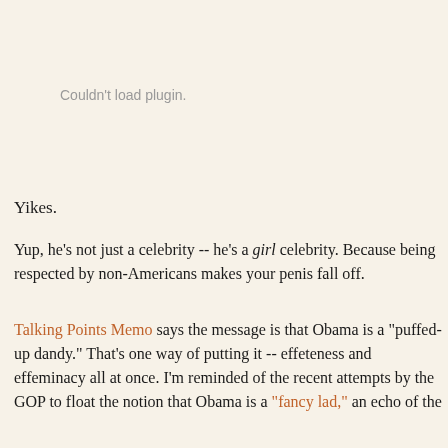[Figure (other): Plugin placeholder area showing 'Couldn't load plugin.' message]
Yikes.
Yup, he's not just a celebrity -- he's a girl celebrity. Because being respected by non-Americans makes your penis fall off.
Talking Points Memo says the message is that Obama is a "puffed-up dandy." That's one way of putting it -- effeteness and effeminacy all at once. I'm reminded of the recent attempts by the GOP to float the notion that Obama is a "fancy lad," an echo of the ...